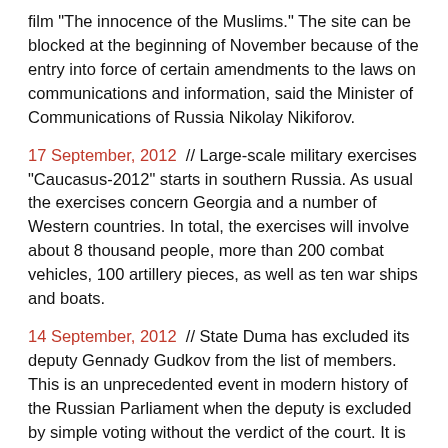film "The innocence of the Muslims." The site can be blocked at the beginning of November because of the entry into force of certain amendments to the laws on communications and information, said the Minister of Communications of Russia Nikolay Nikiforov.
17 September, 2012 // Large-scale military exercises "Caucasus-2012" starts in southern Russia. As usual the exercises concern Georgia and a number of Western countries. In total, the exercises will involve about 8 thousand people, more than 200 combat vehicles, 100 artillery pieces, as well as ten war ships and boats.
14 September, 2012 // State Duma has excluded its deputy Gennady Gudkov from the list of members. This is an unprecedented event in modern history of the Russian Parliament when the deputy is excluded by simple voting without the verdict of the court. It is definitely revenge for his oppositional activities.
10 September, 2012 // Last night, September 9, the closing ceremony of Paralympic Games was held in London. The Russian athletes achieved excellent results - 36 gold, 38 silver and 28 bronze medals. In the unofficial team standings the team finished second, after China's national team. Without a doubt, all participants of the Games are already winners.